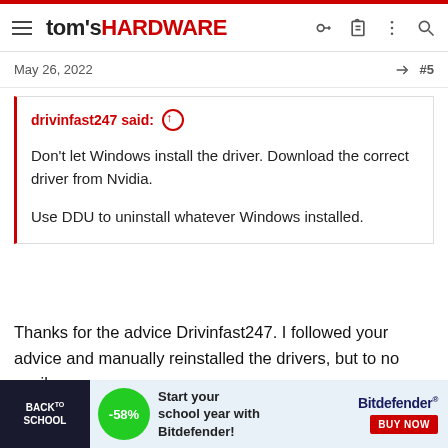tom's HARDWARE
May 26, 2022  #5
drivinfast247 said: ↑

Don't let Windows install the driver. Download the correct driver from Nvidia.

Use DDU to uninstall whatever Windows installed.
Thanks for the advice Drivinfast247. I followed your advice and manually reinstalled the drivers, but to no avail.
[Figure (other): Advertisement banner: Back to School with -58% discount, Start your school year with Bitdefender! BUY NOW]